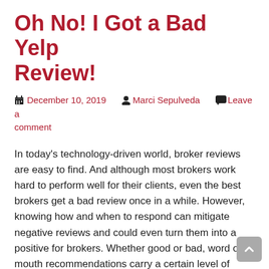Oh No! I Got a Bad Yelp Review!
December 10, 2019  Marci Sepulveda  Leave a comment
In today's technology-driven world, broker reviews are easy to find. And although most brokers work hard to perform well for their clients, even the best brokers get a bad review once in a while. However, knowing how and when to respond can mitigate negative reviews and could even turn them into a positive for brokers. Whether good or bad, word of mouth recommendations carry a certain level of authority among consumers, with nearly 90 percent of consumers saying they trust online reviews as much as word of mouth recommendations. If you want to know